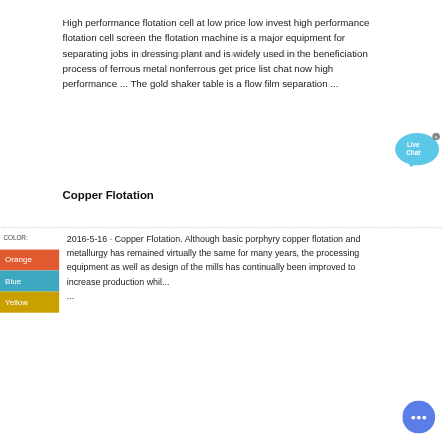High performance flotation cell at low price low invest high performance flotation cell screen the flotation machine is a major equipment for separating jobs in dressing plant and is widely used in the beneficiation process of ferrous metal nonferrous get price list chat now high performance ... The gold shaker table is a flow film separation ...
SERVICES  WORK    ABOUT  CONTACT
Copper Flotation
COLOR:
Orange
Blue
Yellow
2016-5-16 · Copper Flotation. Although basic porphyry copper flotation and metallurgy has remained virtually the same for many years, the processing equipment as well as design of the mills has continually been improved to increase production whil... ...
[Figure (other): Live Chat bubble icon in blue]
[Figure (other): Blue circular chat icon with ellipsis dots]